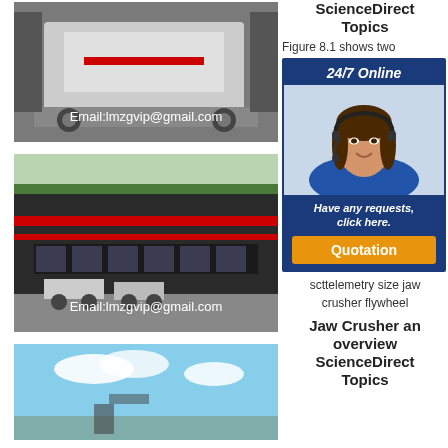[Figure (photo): Industrial jaw crusher machine on a platform, Email:lmzgvip@gmail.com overlay]
[Figure (photo): Industrial building/factory exterior with mobile crushers in parking lot, Email:lmzgvip@gmail.com overlay]
[Figure (photo): Outdoor/sky scene, partially visible]
ScienceDirect Topics
Figure 8.1 shows two
[Figure (infographic): 24/7 Online advertisement banner with woman in headset, Have any requests click here, Quotation button]
scttelemetry size jaw crusher flywheel
Jaw Crusher an overview ScienceDirect Topics